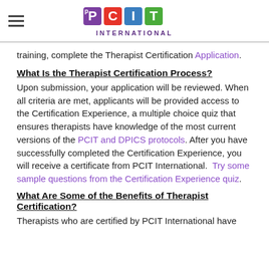PCIT INTERNATIONAL
training, complete the Therapist Certification Application.
What Is the Therapist Certification Process?
Upon submission, your application will be reviewed. When all criteria are met, applicants will be provided access to the Certification Experience, a multiple choice quiz that ensures therapists have knowledge of the most current versions of the PCIT and DPICS protocols. After you have successfully completed the Certification Experience, you will receive a certificate from PCIT International.  Try some sample questions from the Certification Experience quiz.
What Are Some of the Benefits of Therapist Certification?
Therapists who are certified by PCIT International have